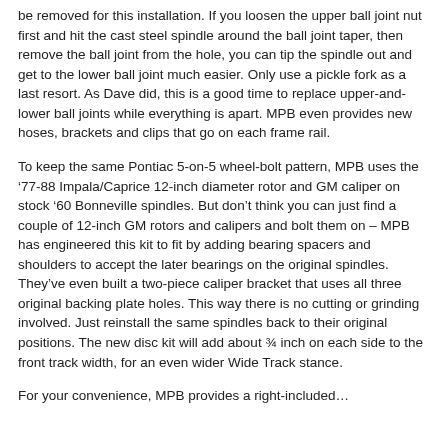be removed for this installation. If you loosen the upper ball joint nut first and hit the cast steel spindle around the ball joint taper, then remove the ball joint from the hole, you can tip the spindle out and get to the lower ball joint much easier. Only use a pickle fork as a last resort. As Dave did, this is a good time to replace upper-and-lower ball joints while everything is apart. MPB even provides new hoses, brackets and clips that go on each frame rail.
To keep the same Pontiac 5-on-5 wheel-bolt pattern, MPB uses the '77-88 Impala/Caprice 12-inch diameter rotor and GM caliper on stock '60 Bonneville spindles. But don't think you can just find a couple of 12-inch GM rotors and calipers and bolt them on – MPB has engineered this kit to fit by adding bearing spacers and shoulders to accept the later bearings on the original spindles. They've even built a two-piece caliper bracket that uses all three original backing plate holes. This way there is no cutting or grinding involved. Just reinstall the same spindles back to their original positions. The new disc kit will add about ¾ inch on each side to the front track width, for an even wider Wide Track stance.
For your convenience, MPB provides a right-included...